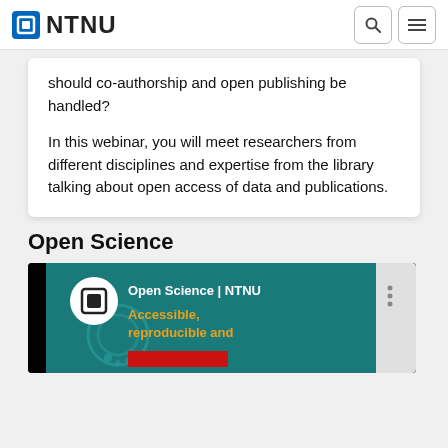NTNU
should co-authorship and open publishing be handled?
In this webinar, you will meet researchers from different disciplines and expertise from the library talking about open access of data and publications.
Open Science
[Figure (screenshot): Video thumbnail for 'Open Science | NTNU' showing teal background with decorative elements, white NTNU logo circle, title 'Open Science | NTNU', subtitle 'Accessible, reproducible and' in orange text, and a red bar at bottom. Right side shows vertical text with Norwegian University of Science and Technology branding.]